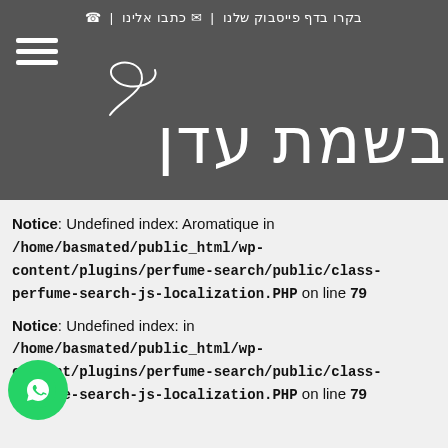בקרו בדף פייסבוק שלנו | כתבו אלינו | ☎
[Figure (logo): Basmated Eden logo with Hebrew text בשמת עדן and decorative swirl above, white on dark grey background]
Notice: Undefined index: Aromatique in /home/basmated/public_html/wp-content/plugins/perfume-search/public/class-perfume-search-js-localization.PHP on line 79
Notice: Undefined index: in /home/basmated/public_html/wp-content/plugins/perfume-search/public/class-perfume-search-js-localization.PHP on line 79